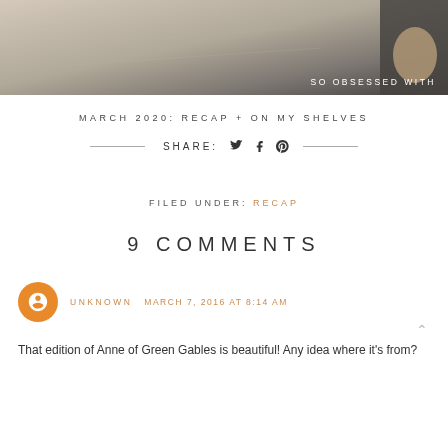[Figure (photo): Close-up photo of fabric/clothing with text overlay 'SO OBSESSED WITH']
MARCH 2020: RECAP + ON MY SHELVES
SHARE: [twitter] [facebook] [pinterest]
FILED UNDER: RECAP
9 COMMENTS
UNKNOWN MARCH 7, 2016 AT 8:14 AM
That edition of Anne of Green Gables is beautiful! Any idea where it's from?